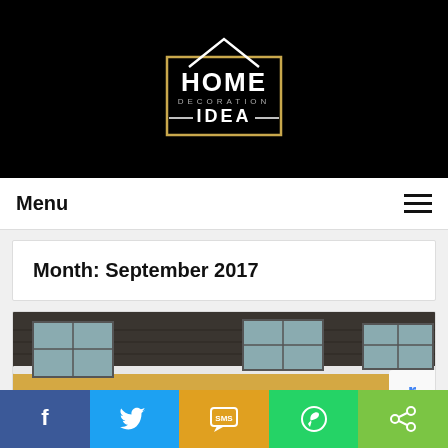[Figure (logo): Home Decoration Idea logo: white house outline above a gold rectangle border, with text HOME DECORATION IDEA in white/silver on black background]
Menu
Month: September 2017
[Figure (photo): Exterior photo of a house showing roof with dark shingles, gutters, windows, and yellow/tan siding]
[Figure (infographic): Social share bar with Facebook, Twitter, SMS, WhatsApp, and ShareThis buttons]